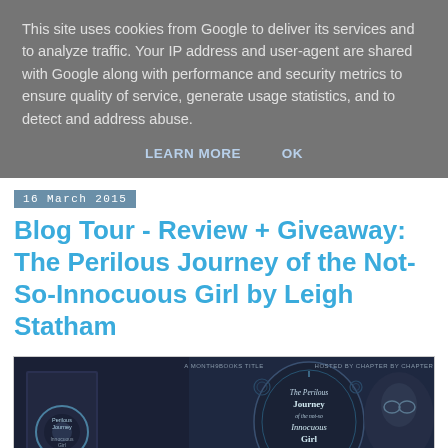This site uses cookies from Google to deliver its services and to analyze traffic. Your IP address and user-agent are shared with Google along with performance and security metrics to ensure quality of service, generate usage statistics, and to detect and address abuse.
LEARN MORE    OK
16 March 2015
Blog Tour - Review + Giveaway: The Perilous Journey of the Not-So-Innocuous Girl by Leigh Statham
[Figure (photo): Blog Tour banner image for 'The Perilous Journey of the Not-So-Innocuous Girl' by Leigh Statham. Shows book cover on left side and decorative text reading 'BLOG TOUR MARCH 16-29' on right side with steampunk-styled girl imagery. Text at top reads 'A MONTH9BOOKS TITLE' and 'HOSTED BY CHAPTER BY CHAPTER'.]